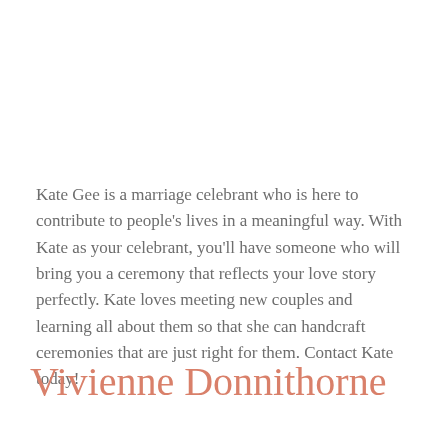Kate Gee is a marriage celebrant who is here to contribute to people's lives in a meaningful way. With Kate as your celebrant, you'll have someone who will bring you a ceremony that reflects your love story perfectly. Kate loves meeting new couples and learning all about them so that she can handcraft ceremonies that are just right for them. Contact Kate today!
Vivienne Donnithorne